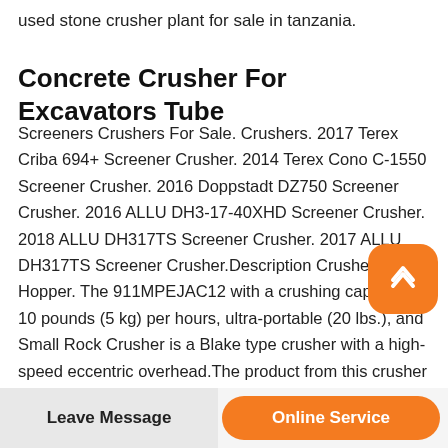used stone crusher plant for sale in tanzania.
Concrete Crusher For Excavators Tube
Screeners Crushers For Sale. Crushers. 2017 Terex Criba 694+ Screener Crusher. 2014 Terex Cono C-1550 Screener Crusher. 2016 Doppstadt DZ750 Screener Crusher. 2016 ALLU DH3-17-40XHD Screener Crusher. 2018 ALLU DH317TS Screener Crusher. 2017 ALLU DH317TS Screener Crusher.Description Crusher Feed Hopper. The 911MPEJAC12 with a crushing capacity of 10 pounds (5 kg) per hours, ultra-portable (20 lbs.), and Small Rock Crusher is a Blake type crusher with a high-speed eccentric overhead.The product from this crusher is generally liberated enough and ready to pan
[Figure (other): Orange rounded square button with upward chevron/arrow icon, positioned at right side of page]
Leave Message | Online Service